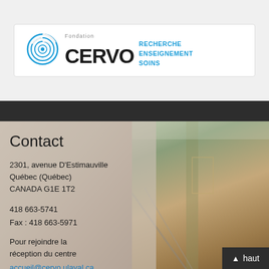[Figure (logo): Fondation CERVO logo with circular maze icon and tagline RECHERCHE ENSEIGNEMENT SOINS in blue]
Contact
2301, avenue D'Estimauville
Québec (Québec)
CANADA G1E 1T2
418 663-5741
Fax : 418 663-5971
Pour rejoindre la réception du centre
accueil@cervo.ulaval.ca